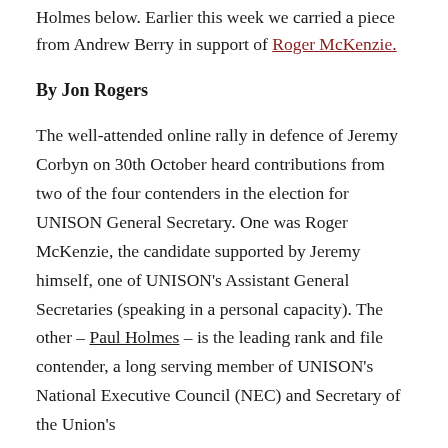Holmes below. Earlier this week we carried a piece from Andrew Berry in support of Roger McKenzie.
By Jon Rogers
The well-attended online rally in defence of Jeremy Corbyn on 30th October heard contributions from two of the four contenders in the election for UNISON General Secretary. One was Roger McKenzie, the candidate supported by Jeremy himself, one of UNISON's Assistant General Secretaries (speaking in a personal capacity). The other – Paul Holmes – is the leading rank and file contender, a long serving member of UNISON's National Executive Council (NEC) and Secretary of the Union's